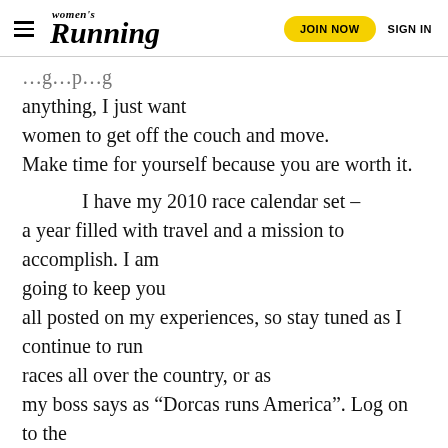women's Running | JOIN NOW | SIGN IN
anything, I just want women to get off the couch and move. Make time for yourself because you are worth it.

     I have my 2010 race calendar set – a year filled with travel and a mission to accomplish. I am going to keep you all posted on my experiences, so stay tuned as I continue to run races all over the country, or as my boss says as “Dorcas runs America”. Log on to the Women’s Running magazine blog, tell me what you think and keep me posted on your own running stories and adventures. After all, we all need to keep each other motivated. And don’t forget to